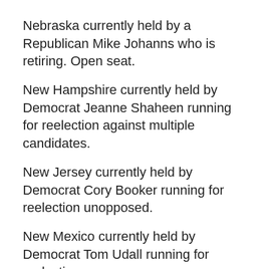Nebraska currently held by a Republican Mike Johanns who is retiring. Open seat.
New Hampshire currently held by Democrat Jeanne Shaheen running for reelection against multiple candidates.
New Jersey currently held by Democrat Cory Booker running for reelection unopposed.
New Mexico currently held by Democrat Tom Udall running for reelection.
North Carolina currently held by a Democrat Kay Hagan running for reelection against multiple candidates.
Oklahoma currently held by Republican Jim Inhofe running for reelection.